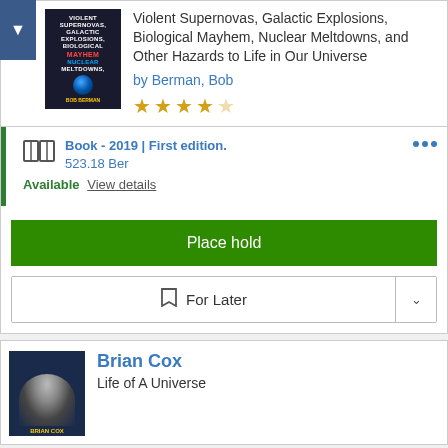[Figure (illustration): Book cover for 'Violent Supernovas, Galactic Explosions, Biological Mayhem, Nuclear Meltdowns...' by Bob Berman, dark background with globe]
Violent Supernovas, Galactic Explosions, Biological Mayhem, Nuclear Meltdowns, and Other Hazards to Life in Our Universe
by Berman, Bob
4 out of 5 stars
Book - 2019 | First edition.
523.18 Ber
Available View details
Place hold
For Later
[Figure (photo): Book cover featuring Brian Cox, man with dark background and cosmic imagery]
Brian Cox
Life of A Universe